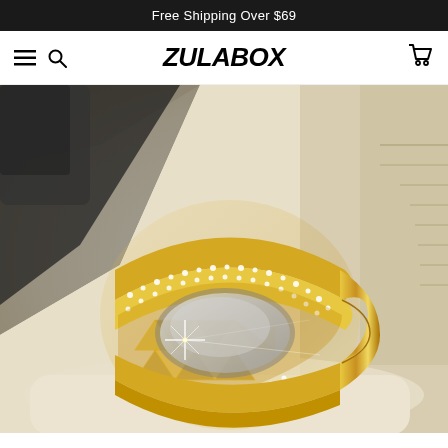Free Shipping Over $69
ZULABOX
[Figure (photo): A gold ring with diamond-studded edges and geometric pyramid-cut interior pattern displayed in a jewelry box with cream/white lining. The ring features two rows of pavé-set diamonds on the outer bands with a bold geometric faceted center section, photographed in a luxury presentation box.]